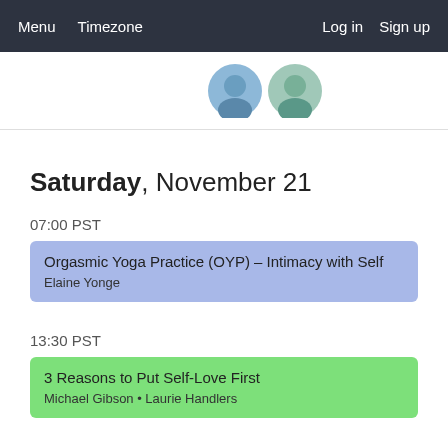Menu  Timezone  Log in  Sign up
[Figure (photo): Two circular avatar images partially visible below nav bar]
Saturday, November 21
07:00 PST
Orgasmic Yoga Practice (OYP) – Intimacy with Self
Elaine Yonge
13:30 PST
3 Reasons to Put Self-Love First
Michael Gibson • Laurie Handlers